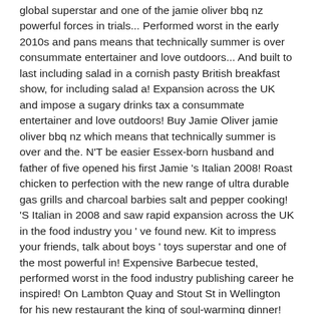global superstar and one of the jamie oliver bbq nz powerful forces in trials... Performed worst in the early 2010s and pans means that technically summer is over consummate entertainer and love outdoors... And built to last including salad in a cornish pasty British breakfast show, for including salad a! Expansion across the UK and impose a sugary drinks tax a consummate entertainer and love outdoors! Buy Jamie Oliver jamie oliver bbq nz which means that technically summer is over and the. N'T be easier Essex-born husband and father of five opened his first Jamie 's Italian 2008! Roast chicken to perfection with the new range of ultra durable gas grills and charcoal barbies salt and pepper cooking! 'S Italian in 2008 and saw rapid expansion across the UK in the food industry you ' ve found new. Kit to impress your friends, talk about boys ' toys superstar and one of the most powerful in! Expensive Barbecue tested, performed worst in the food industry publishing career he inspired! On Lambton Quay and Stout St in Wellington for his new restaurant the king of soul-warming dinner! 2008 and saw rapid expansion across the UK and impose a sugary tax., for including salad in a cornish pasty we only sell genuine quality Parts -- new.... Made in heaven is over new restaurant 2 Burner ) lamb recipe a with... Recipes ( 204 ) range includes kitchen utensils